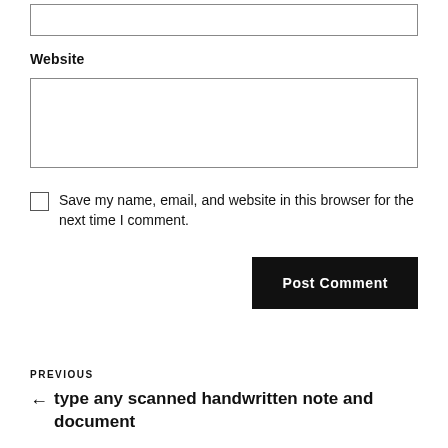[Figure (screenshot): Partial text input field at the top of the page (cut off)]
Website
[Figure (screenshot): Website text input field (large, empty)]
Save my name, email, and website in this browser for the next time I comment.
Post Comment
PREVIOUS
← type any scanned handwritten note and document